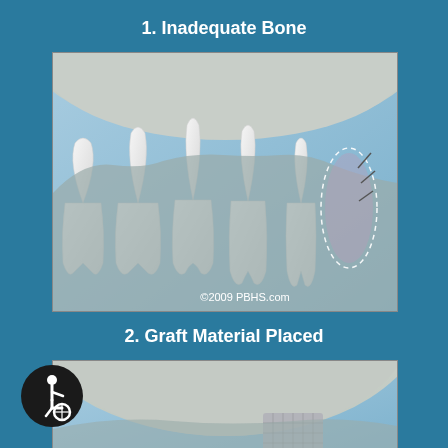1. Inadequate Bone
[Figure (illustration): Medical dental illustration showing inadequate bone with teeth cross-section, dashed outline indicating missing bone area, and sutures. Copyright 2009 PBHS.com]
2. Graft Material Placed
[Figure (illustration): Medical dental illustration showing graft material being placed in the bone defect area, partial view]
[Figure (illustration): Accessibility icon - wheelchair symbol in black circle]